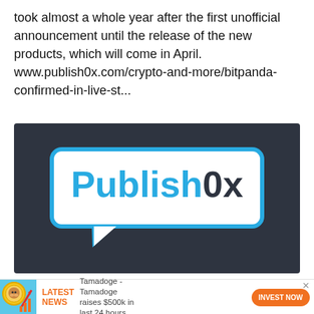took almost a whole year after the first unofficial announcement until the release of the new products, which will come in April. www.publish0x.com/crypto-and-more/bitpanda-confirmed-in-live-st...
[Figure (logo): Publish0x logo — white speech bubble with blue border containing 'Publish0x' text on dark background]
[Figure (infographic): Advertisement banner: Tamadoge dog coin image with rising chart arrow, LATEST NEWS label in orange, text 'Tamadoge - Tamadoge raises $500k in last 24 hours', orange INVEST NOW button]